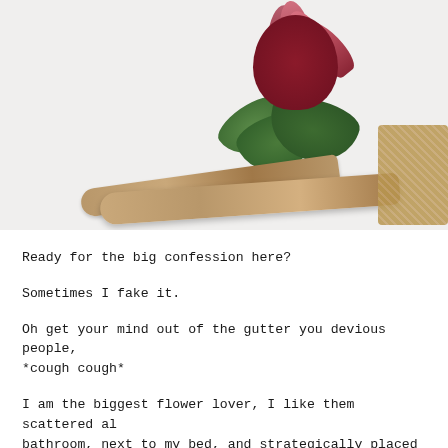[Figure (photo): A protea flower with dark pink/red petals and green leaves resting on two driftwood branches, with burlap wrapping on the right end, against a white background.]
Ready for the big confession here?
Sometimes I fake it.
Oh get your mind out of the gutter you devious people,
*cough cough*
I am the biggest flower lover, I like them scattered al
bathroom, next to my bed, and strategically placed on t